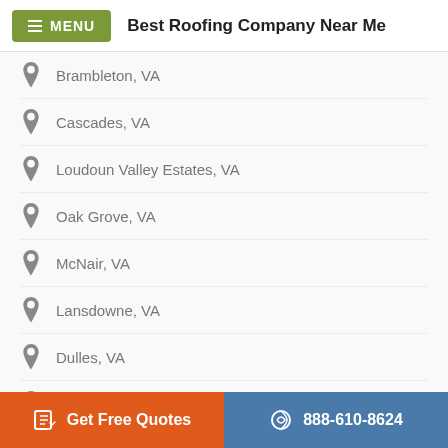MENU  Best Roofing Company Near Me
Brambleton, VA
Cascades, VA
Loudoun Valley Estates, VA
Oak Grove, VA
McNair, VA
Lansdowne, VA
Dulles, VA
Dulles, VA
Ashburn, VA
Get Free Quotes  888-610-8624